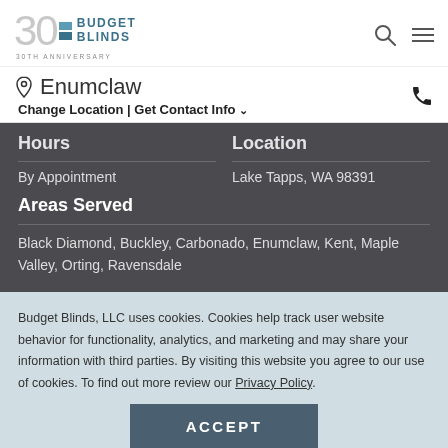Budget Blinds 30th Anniversary
Enumclaw
Change Location | Get Contact Info
Hours
Location
By Appointment
Lake Tapps, WA 98391
Areas Served
Black Diamond, Buckley, Carbonado, Enumclaw, Kent, Maple Valley, Orting, Ravensdale
Budget Blinds, LLC uses cookies. Cookies help track user website behavior for functionality, analytics, and marketing and may share your information with third parties. By visiting this website you agree to our use of cookies. To find out more review our Privacy Policy.
ACCEPT